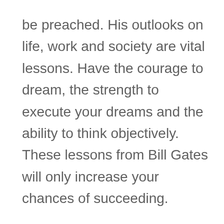be preached. His outlooks on life, work and society are vital lessons. Have the courage to dream, the strength to execute your dreams and the ability to think objectively.  These lessons from Bill Gates will only increase your chances of succeeding.